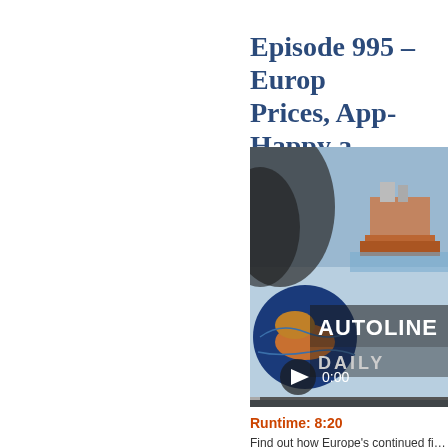Episode 995 – Europe's Prices, App-Happy a… Fiat
October 18th, 2012 at 11:55am
[Figure (screenshot): Video player thumbnail showing Autoline Daily logo with a globe, tire tread, and cargo ship in background. Play button and 0:00 timestamp visible.]
Runtime: 8:20
Find out how Europe's continued fi…